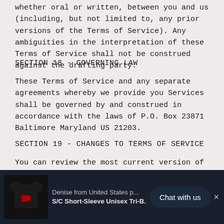whether oral or written, between you and us (including, but not limited to, any prior versions of the Terms of Service). Any ambiguities in the interpretation of these Terms of Service shall not be construed against the drafting party.
SECTION 18 - GOVERNING LAW
These Terms of Service and any separate agreements whereby we provide you Services shall be governed by and construed in accordance with the laws of P.O. Box 23871 Baltimore Maryland US 21203.
SECTION 19 - CHANGES TO TERMS OF SERVICE
You can review the most current version of the Terms of Service at any time at this page.
[Figure (screenshot): Chat widget at bottom of page: black t-shirt thumbnail on left, text 'Denise from United States p... S/C Short-Sleeve Unisex Tri-B...' in middle, dark rounded 'Chat with us' button on right, X close button at far right, dark navy background.]